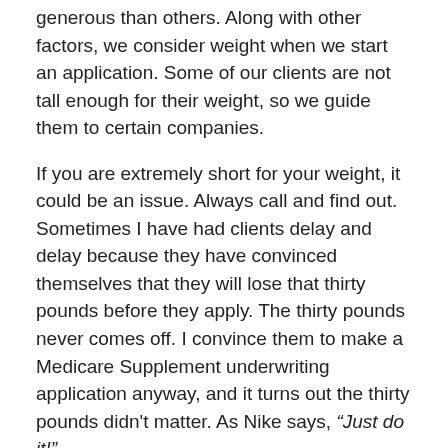generous than others. Along with other factors, we consider weight when we start an application. Some of our clients are not tall enough for their weight, so we guide them to certain companies.
If you are extremely short for your weight, it could be an issue. Always call and find out. Sometimes I have had clients delay and delay because they have convinced themselves that they will lose that thirty pounds before they apply. The thirty pounds never comes off. I convince them to make a Medicare Supplement underwriting application anyway, and it turns out the thirty pounds didn't matter. As Nike says, “Just do it!”
I had another client last summer lose about 40 pounds. A few months before, the insurance company denied her coverage. After a wonderful weight loss regime, she passed Medicare Supplement underwriting and saved almost $1,000.